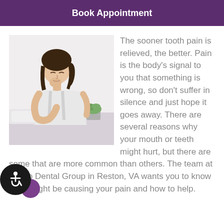Book Appointment
[Figure (photo): A young Asian woman sitting, resting her chin on her hand with eyes closed, appearing to be in pain or distress. She is wearing a white tank top. There is a small potted plant in the background.]
The sooner tooth pain is relieved, the better. Pain is the body's signal to you that something is wrong, so don't suffer in silence and just hope it goes away. There are several reasons why your mouth or teeth might hurt, but there are some that are more common than others. The team at Hilltop Dental Group in Reston, VA wants you to know what might be causing your pain and how to help.